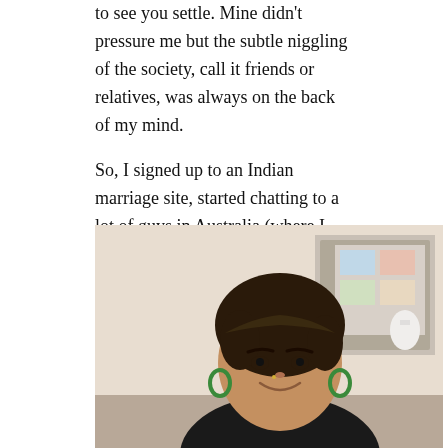to see you settle. Mine didn't pressure me but the subtle niggling of the society, call it friends or relatives, was always on the back of my mind.
So, I signed up to an Indian marriage site, started chatting to a lot of guys in Australia (where I live) and overseas. Suddenly, Sam came online from America, saying he was Scottish.
[Figure (photo): Portrait photo of a young South Asian woman with short dark hair and green hoop earrings, wearing a black top, smiling, with a room interior visible in the background.]